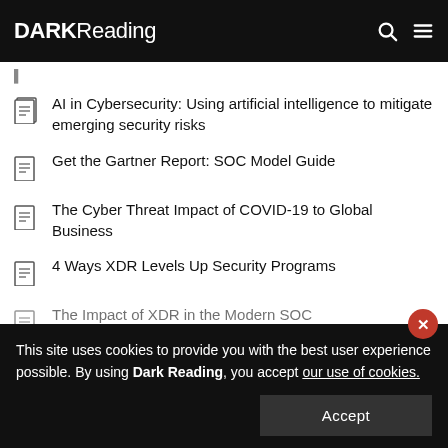DARK Reading
AI in Cybersecurity: Using artificial intelligence to mitigate emerging security risks
Get the Gartner Report: SOC Model Guide
The Cyber Threat Impact of COVID-19 to Global Business
4 Ways XDR Levels Up Security Programs
The Impact of XDR in the Modern SOC
This site uses cookies to provide you with the best user experience possible. By using Dark Reading, you accept our use of cookies.